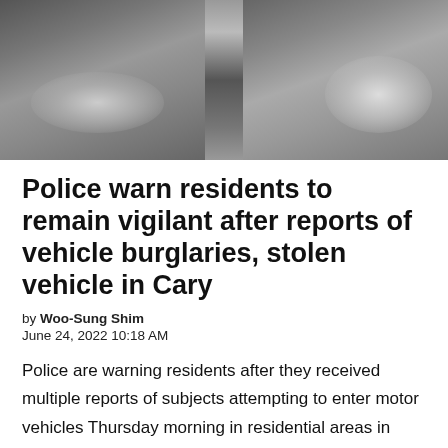[Figure (photo): Black and white photograph showing cloudy or smoky outdoor scene, split across multiple panels with a dark vertical divider in the center]
Police warn residents to remain vigilant after reports of vehicle burglaries, stolen vehicle in Cary
by Woo-Sung Shim
June 24, 2022 10:18 AM
Police are warning residents after they received multiple reports of subjects attempting to enter motor vehicles Thursday morning in residential areas in Cary and Crystal Lake. The incidents occurred in residential areas in the northeast region of Cary as well as neighboring towns. In some cases, the subjects were